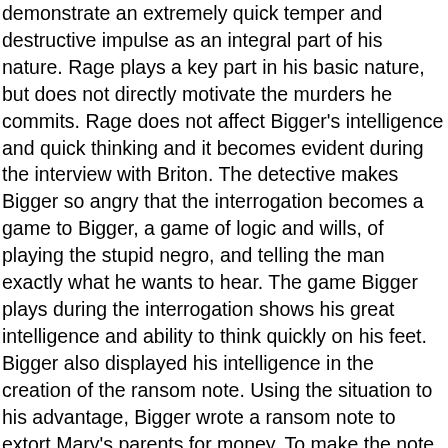demonstrate an extremely quick temper and destructive impulse as an integral part of his nature. Rage plays a key part in his basic nature, but does not directly motivate the murders he commits. Rage does not affect Bigger's intelligence and quick thinking and it becomes evident during the interview with Briton. The detective makes Bigger so angry that the interrogation becomes a game to Bigger, a game of logic and wills, of playing the stupid negro, and telling the man exactly what he wants to hear. The game Bigger plays during the interrogation shows his great intelligence and ability to think quickly on his feet. Bigger also displayed his intelligence in the creation of the ransom note. Using the situation to his advantage, Bigger wrote a ransom note to extort Mary's parents for money. To make the note even more convincing and to dissuade blame from himself, Bigger signs the note with